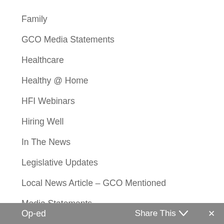Family
GCO Media Statements
Healthcare
Healthy @ Home
HFI Webinars
Hiring Well
In The News
Legislative Updates
Local News Article – GCO Mentioned
Media Statements
Op-ed   Share This ∨   ✕